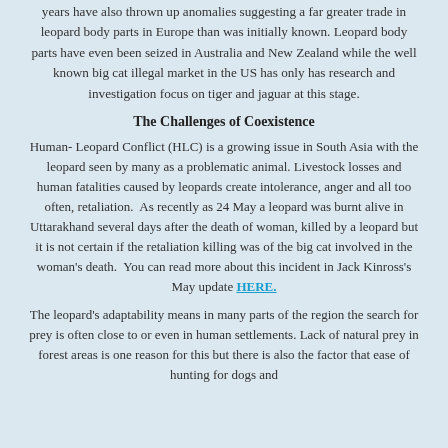years have also thrown up anomalies suggesting a far greater trade in leopard body parts in Europe than was initially known. Leopard body parts have even been seized in Australia and New Zealand while the well known big cat illegal market in the US has only has research and investigation focus on tiger and jaguar at this stage.
The Challenges of Coexistence
Human- Leopard Conflict (HLC) is a growing issue in South Asia with the leopard seen by many as a problematic animal. Livestock losses and human fatalities caused by leopards create intolerance, anger and all too often, retaliation.  As recently as 24 May a leopard was burnt alive in Uttarakhand several days after the death of woman, killed by a leopard but it is not certain if the retaliation killing was of the big cat involved in the woman's death.  You can read more about this incident in Jack Kinross's May update HERE.
The leopard's adaptability means in many parts of the region the search for prey is often close to or even in human settlements. Lack of natural prey in forest areas is one reason for this but there is also the factor that ease of hunting for dogs and